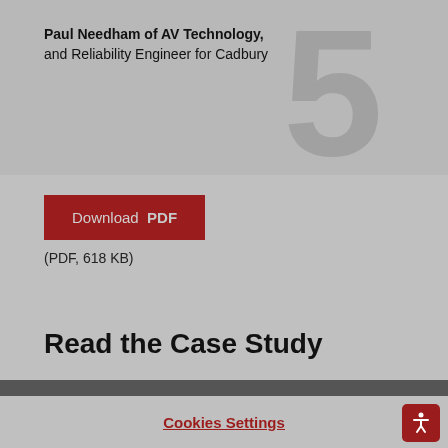Paul Needham of AV Technology, and Reliability Engineer for Cadbury
[Figure (logo): Large stylized number or letter in dark gray watermark style on right side of top section]
Download PDF
(PDF, 618 KB)
Read the Case Study
HF Sinclair (NYSE: DINO), the new parent entity of HollyFrontier, has completed its acquisition of Sinclair Oil. As a subsidiary of HF Sinclair, we’re in the process of updating our website to reflect this change.
Cookies Settings